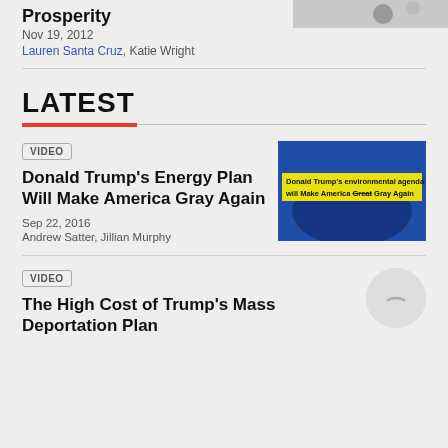Prosperity
Nov 19, 2012
Lauren Santa Cruz, Katie Wright
LATEST
VIDEO
Donald Trump's Energy Plan Will Make America Gray Again
Sep 22, 2016
Andrew Satter, Jillian Murphy
[Figure (screenshot): Video thumbnail with blue background and yellow text overlay reading: Donald Trump's environmental agenda will Make America Great Gray Again]
VIDEO
The High Cost of Trump's Mass Deportation Plan